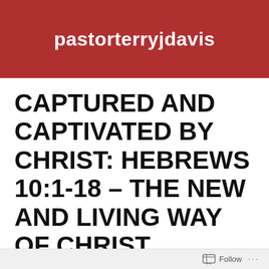pastorterryjdavis
CAPTURED AND CAPTIVATED BY CHRIST: HEBREWS 10:1-18 – THE NEW AND LIVING WAY OF CHRIST